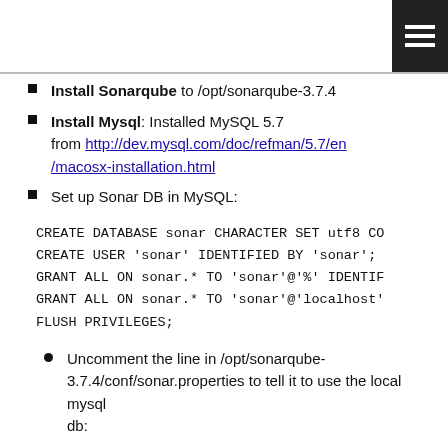Install Sonarqube to /opt/sonarqube-3.7.4
Install Mysql: Installed MySQL 5.7 from http://dev.mysql.com/doc/refman/5.7/en/macosx-installation.html
Set up Sonar DB in MySQL:
CREATE DATABASE sonar CHARACTER SET utf8 CO
CREATE USER 'sonar' IDENTIFIED BY 'sonar';
GRANT ALL ON sonar.* TO 'sonar'@'%' IDENTIF
GRANT ALL ON sonar.* TO 'sonar'@'localhost'
FLUSH PRIVILEGES;
Uncomment the line in /opt/sonarqube-3.7.4/conf/sonar.properties to tell it to use the local mysql db: